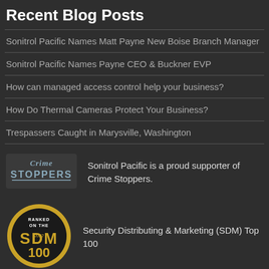Recent Blog Posts
Sonitrol Pacific Names Matt Payne New Boise Branch Manager
Sonitrol Pacific Names Payne CEO & Buckner EVP
How can managed access control help your business?
How Do Thermal Cameras Protect Your Business?
Trespassers Caught in Marysville, Washington
[Figure (logo): Crime Stoppers logo in grey/blue tones]
Sonitrol Pacific is a proud supporter of Crime Stoppers.
[Figure (logo): SDM Top 100 ranked badge, circular gold and black design with text RANKED ON THE SDM 100]
Security Distributing & Marketing (SDM) Top 100